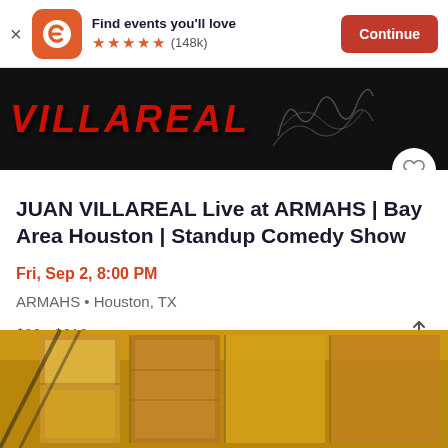[Figure (screenshot): Eventbrite app banner with orange logo, 'Find events you'll love' text, 5 orange stars, (148k) reviews, and orange 'Continue' button]
[Figure (photo): Event banner image showing VILLAREAL text in red on dark background with signature/scribble graphic]
JUAN VILLAREAL Live at ARMAHS | Bay Area Houston | Standup Comedy Show
Fri, Sep 2, 8:00 PM
ARMAHS • Houston, TX
$20 - $210
[Figure (photo): Architectural interior photo of ARMAHS venue showing modern building facade with geometric panels and warm lighting]